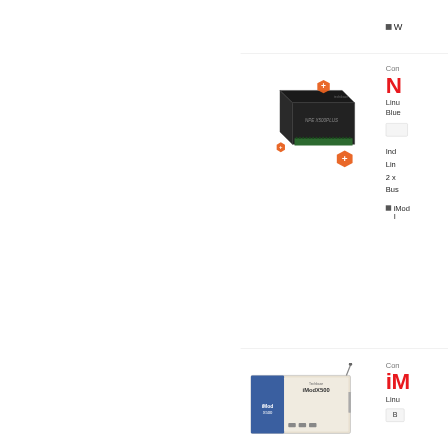W
[Figure (photo): Industrial embedded computer NPE X500 PLUS in black enclosure with green terminal connectors and orange plus/add icons]
Compare
N
Linux
Bluetooth
Industrial
Linux
2 x
Bus
iMod
I
[Figure (photo): iModX500 embedded Linux module in white/beige enclosure with blue label and antenna connector]
Compare
iM
Linux
B